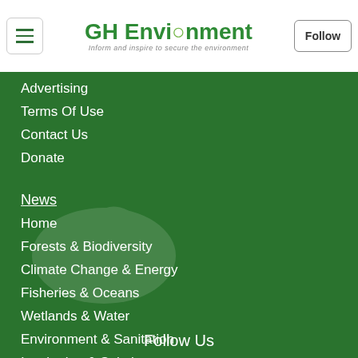GH Environment — Inform and inspire to secure the environment | Follow
Advertising
Terms Of Use
Contact Us
Donate
News
Home
Forests & Biodiversity
Climate Change & Energy
Fisheries & Oceans
Wetlands & Water
Environment & Sanitation
Inspiration & Solutions
KIDs
Follow Us